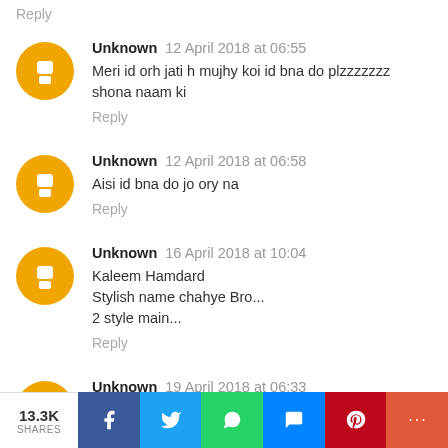Reply
Unknown 12 April 2018 at 06:55
Meri id orh jati h mujhy koi id bna do plzzzzzzz shona naam ki
Reply
Unknown 12 April 2018 at 06:58
Aisi id bna do jo ory na
Reply
Unknown 16 April 2018 at 10:04
Kaleem Hamdard
Stylish name chahye Bro...
2 style main...
Reply
Unknown 19 April 2018 at 06:33
Spicy girl
13.3K SHARES